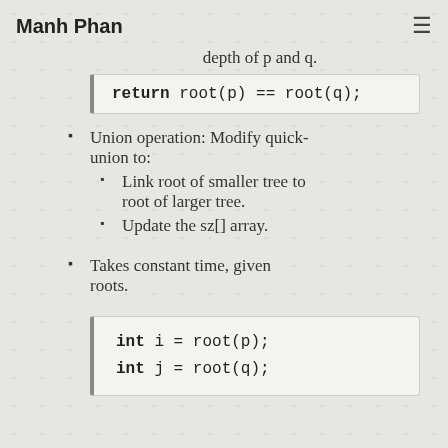Manh Phan
depth of p and q.
return root(p) == root(q);
Union operation: Modify quick-union to:
Link root of smaller tree to root of larger tree.
Update the sz[] array.
Takes constant time, given roots.
int i = root(p);
int j = root(q);